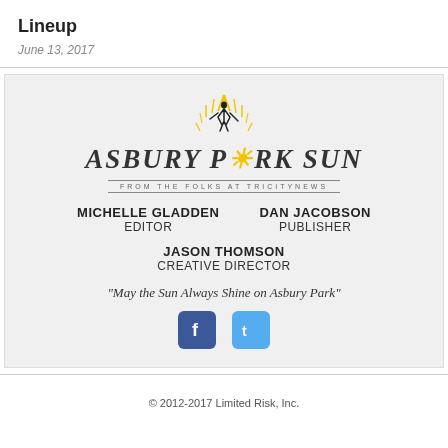Lineup
June 13, 2017
[Figure (logo): Asbury Park Sun logo with sunburst graphic, dancer silhouette, bold serif italic text reading ASBURY PARK SUN, and tagline FROM THE FOLKS AT TRICITYNEWS]
MICHELLE GLADDEN EDITOR | DAN JACOBSON PUBLISHER
JASON THOMSON CREATIVE DIRECTOR
“May the Sun Always Shine on Asbury Park”
[Figure (logo): Facebook and Twitter social media icon buttons]
© 2012-2017 Limited Risk, Inc.